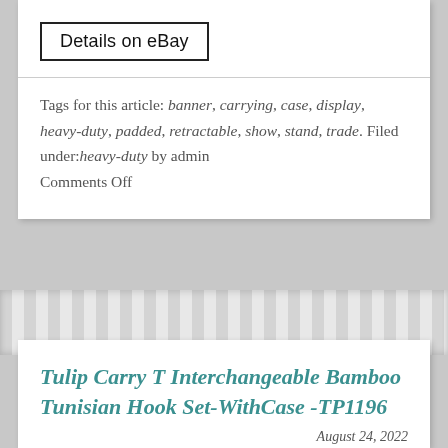Details on eBay
Tags for this article: banner, carrying, case, display, heavy-duty, padded, retractable, show, stand, trade. Filed under: heavy-duty by admin
Comments Off
Tulip Carry T Interchangeable Bamboo Tunisian Hook Set-WithCase -TP1196
August 24, 2022